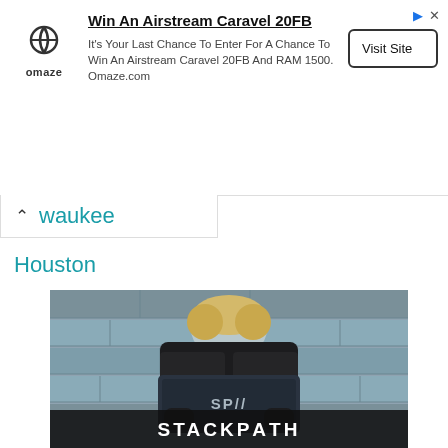[Figure (screenshot): Omaze advertisement banner: logo on left, bold title 'Win An Airstream Caravel 20FB', body text 'It's Your Last Chance To Enter For A Chance To Win An Airstream Caravel 20FB And RAM 1500. Omaze.com', and 'Visit Site' button on right. AdChoices icons top right.]
waukee
Houston
[Figure (photo): Person in black leather jacket holding a dark laptop with 'SP//' logo, sitting against a stone wall background. StackPath logo banner at the bottom.]